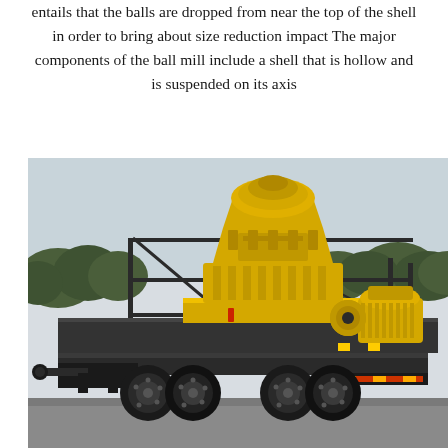entails that the balls are dropped from near the top of the shell in order to bring about size reduction impact The major components of the ball mill include a shell that is hollow and is suspended on its axis
[Figure (photo): A mobile cone crusher / ball mill machine mounted on a flatbed truck trailer. The machine is painted bright yellow and is mounted on a heavy black steel flatbed trailer with dual rear axles. The equipment includes a large cone-shaped crushing unit on top with associated motor and drive components. Background shows trees and overcast sky.]